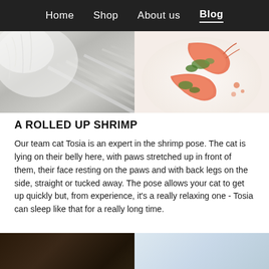Home  Shop  About us  Blog
[Figure (photo): Two images side by side: left shows a cat's white/grey fur with striped fabric, right shows cooked shrimp/prawns with green herbs on a white plate]
A ROLLED UP SHRIMP
Our team cat Tosia is an expert in the shrimp pose. The cat is lying on their belly here, with paws stretched up in front of them, their face resting on the paws and with back legs on the side, straight or tucked away. The pose allows your cat to get up quickly but, from experience, it's a really relaxing one - Tosia can sleep like that for a really long time.
[Figure (photo): Bottom strip: left side shows a dark wooden surface/furniture, right side shows a light blue/white surface]